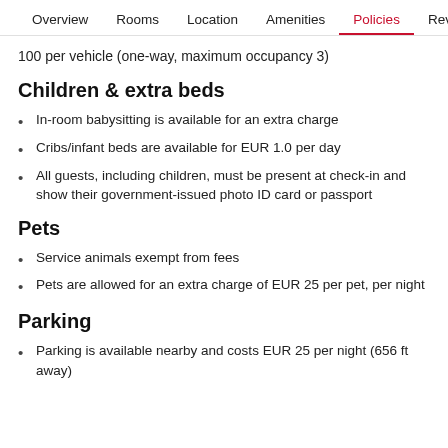Overview  Rooms  Location  Amenities  Policies  Reviews
100 per vehicle (one-way, maximum occupancy 3)
Children & extra beds
In-room babysitting is available for an extra charge
Cribs/infant beds are available for EUR 1.0 per day
All guests, including children, must be present at check-in and show their government-issued photo ID card or passport
Pets
Service animals exempt from fees
Pets are allowed for an extra charge of EUR 25 per pet, per night
Parking
Parking is available nearby and costs EUR 25 per night (656 ft away)